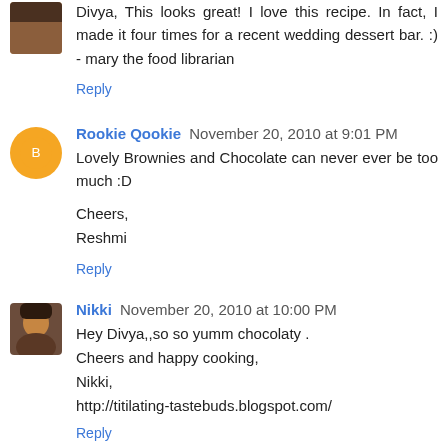Divya, This looks great! I love this recipe. In fact, I made it four times for a recent wedding dessert bar. :) - mary the food librarian
Reply
Rookie Qookie November 20, 2010 at 9:01 PM
Lovely Brownies and Chocolate can never ever be too much :D

Cheers,
Reshmi
Reply
Nikki November 20, 2010 at 10:00 PM
Hey Divya,,so so yumm chocolaty .
Cheers and happy cooking,
Nikki,
http://titilating-tastebuds.blogspot.com/
Reply